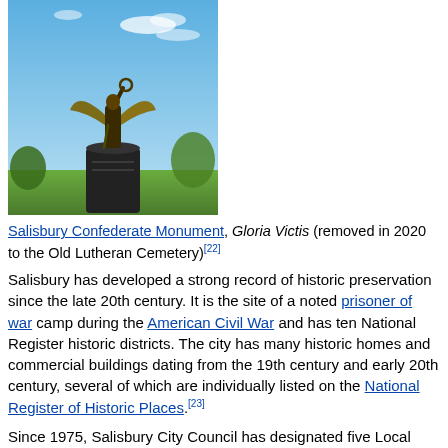[Figure (photo): Photograph of the Salisbury Confederate Monument, Gloria Victis — a bronze winged female figure with arm raised, atop a dark cylindrical pedestal, against a blue sky with scattered clouds and trees in background.]
Salisbury Confederate Monument, Gloria Victis (removed in 2020 to the Old Lutheran Cemetery)[22]
Salisbury has developed a strong record of historic preservation since the late 20th century. It is the site of a noted prisoner of war camp during the American Civil War and has ten National Register historic districts. The city has many historic homes and commercial buildings dating from the 19th century and early 20th century, several of which are individually listed on the National Register of Historic Places.[23]
Since 1975, Salisbury City Council has designated five Local Historic Districts, encompassing hundreds of historically and